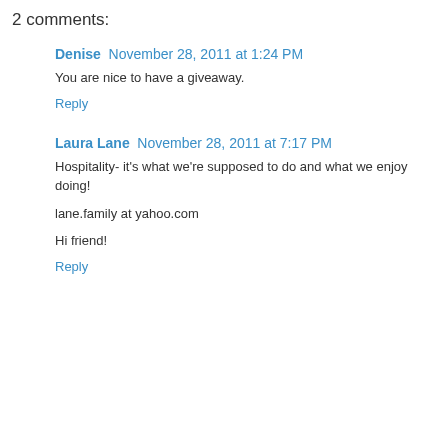2 comments:
Denise  November 28, 2011 at 1:24 PM
You are nice to have a giveaway.
Reply
Laura Lane  November 28, 2011 at 7:17 PM
Hospitality- it's what we're supposed to do and what we enjoy doing!
lane.family at yahoo.com
Hi friend!
Reply